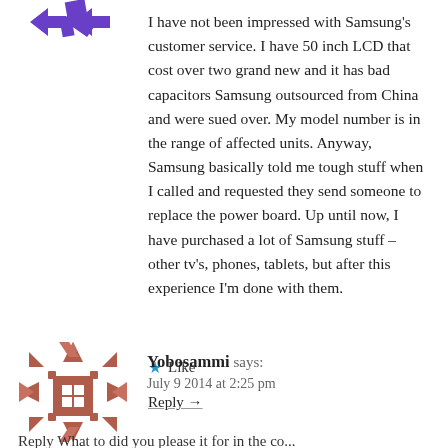[Figure (illustration): Purple/violet avatar icon composed of arrow shapes pointing in different directions, positioned top left of first comment]
I have not been impressed with Samsung's customer service. I have 50 inch LCD that cost over two grand new and it has bad capacitors Samsung outsourced from China and were sued over. My model number is in the range of affected units. Anyway, Samsung basically told me tough stuff when I called and requested they send someone to replace the power board. Up until now, I have purchased a lot of Samsung stuff – other tv's, phones, tablets, but after this experience I'm done with them.
★ Like
Reply →
[Figure (illustration): Brownish-red decorative avatar icon with geometric/snowflake-like pattern, positioned at left of second comment]
Yobosammi says:
July 9 2014 at 2:25 pm
Reply What to did you please it for in the co...